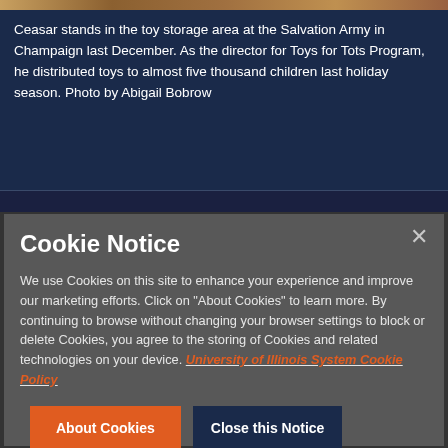[Figure (photo): Top strip showing a partial photo of toy storage area at Salvation Army, warm brown and orange tones]
Ceasar stands in the toy storage area at the Salvation Army in Champaign last December. As the director for Toys for Tots Program, he distributed toys to almost five thousand children last holiday season. Photo by Abigail Bobrow
Cookie Notice

We use Cookies on this site to enhance your experience and improve our marketing efforts. Click on "About Cookies" to learn more. By continuing to browse without changing your browser settings to block or delete Cookies, you agree to the storing of Cookies and related technologies on your device. University of Illinois System Cookie Policy